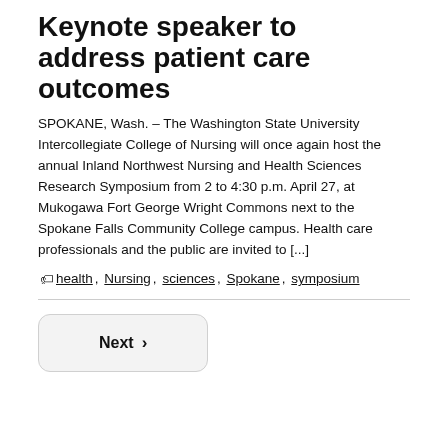Keynote speaker to address patient care outcomes
SPOKANE, Wash. – The Washington State University Intercollegiate College of Nursing will once again host the annual Inland Northwest Nursing and Health Sciences Research Symposium from 2 to 4:30 p.m. April 27, at Mukogawa Fort George Wright Commons next to the Spokane Falls Community College campus. Health care professionals and the public are invited to [...]
health, Nursing, sciences, Spokane, symposium
Next >